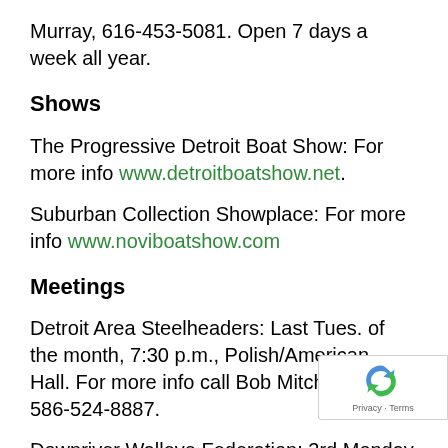Murray, 616-453-5081. Open 7 days a week all year.
Shows
The Progressive Detroit Boat Show: For more info www.detroitboatshow.net.
Suburban Collection Showplace: For more info www.noviboatshow.com
Meetings
Detroit Area Steelheaders: Last Tues. of the month, 7:30 p.m., Polish/American Hall. For more info call Bob Mitchell, 586-524-8887.
Downriver Walleye Federation: 3rd Monday of every month, except Dec. 7:30 p.m., Westfield